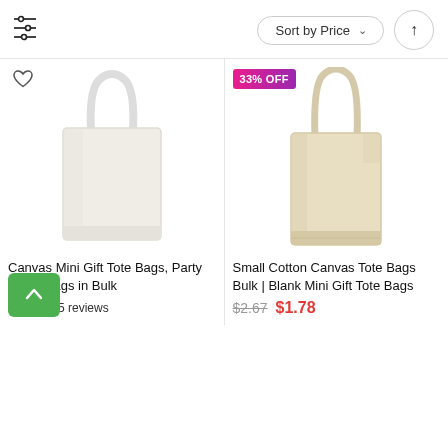Sort by Price
[Figure (photo): White/off-white canvas mini gift tote bag with short handles, product listing image]
Canvas Mini Gift Tote Bags, Party Favor Bags in Bulk
5 reviews
[Figure (photo): Small cotton canvas tote bag, beige/natural color with long handles, product listing image with 33% OFF badge]
Small Cotton Canvas Tote Bags Bulk | Blank Mini Gift Tote Bags
$2.67  $1.78